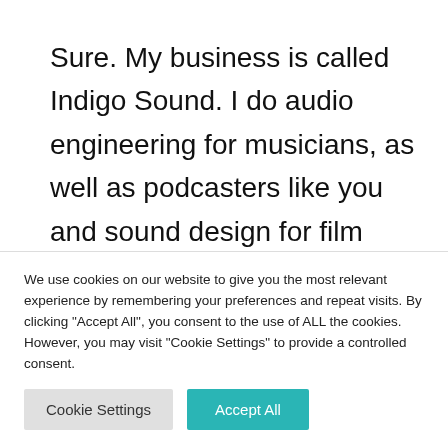Sure. My business is called Indigo Sound. I do audio engineering for musicians, as well as podcasters like you and sound design for film work, basically anything that needs any sort of sound engineering. I also edit this podcast that I'm talking on right
We use cookies on our website to give you the most relevant experience by remembering your preferences and repeat visits. By clicking "Accept All", you consent to the use of ALL the cookies. However, you may visit "Cookie Settings" to provide a controlled consent.